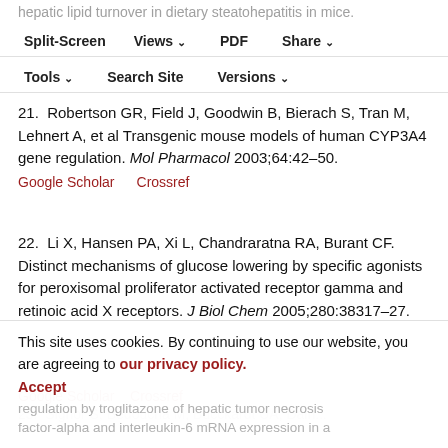hepatic lipid turnover in dietary steatohepatitis in mice. Hepatology 2003;38:123–32.
Split-Screen | Views | PDF | Share | Tools | Search Site | Versions
Google Scholar   Crossref
21.  Robertson GR, Field J, Goodwin B, Bierach S, Tran M, Lehnert A, et al Transgenic mouse models of human CYP3A4 gene regulation. Mol Pharmacol 2003;64:42–50.
Google Scholar   Crossref
22.  Li X, Hansen PA, Xi L, Chandraratna RA, Burant CF. Distinct mechanisms of glucose lowering by specific agonists for peroxisomal proliferator activated receptor gamma and retinoic acid X receptors. J Biol Chem 2005;280:38317–27.
Google Scholar   Crossref
23.  Signor S, Bedoucha M, Burckardt UA, Dain... regulation by troglitazone of hepatic tumor necrosis factor-alpha and interleukin-6 mRNA expression in a
This site uses cookies. By continuing to use our website, you are agreeing to our privacy policy. Accept